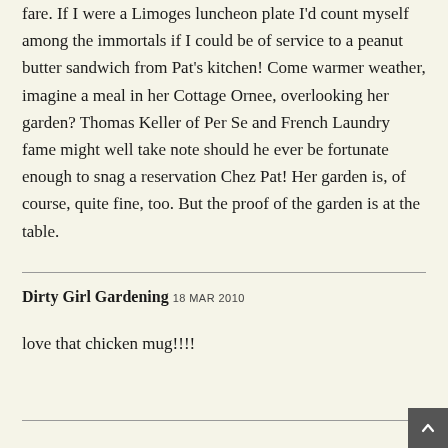fare. If I were a Limoges luncheon plate I'd count myself among the immortals if I could be of service to a peanut butter sandwich from Pat's kitchen! Come warmer weather, imagine a meal in her Cottage Ornee, overlooking her garden? Thomas Keller of Per Se and French Laundry fame might well take note should he ever be fortunate enough to snag a reservation Chez Pat! Her garden is, of course, quite fine, too. But the proof of the garden is at the table.
Dirty Girl Gardening 18 MAR 2010
love that chicken mug!!!!